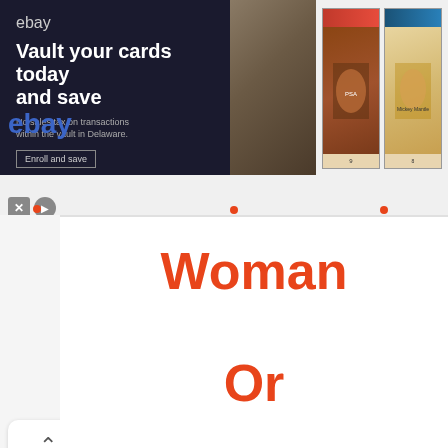[Figure (screenshot): eBay advertisement banner: 'Vault your cards today and save' with trading card images on the right]
Woman
Or
Behind Every Man There
Is A Woman